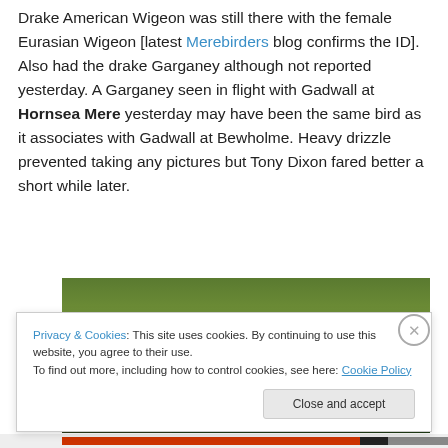Drake American Wigeon was still there with the female Eurasian Wigeon [latest Merebirders blog confirms the ID]. Also had the drake Garganey although not reported yesterday. A Garganey seen in flight with Gadwall at Hornsea Mere yesterday may have been the same bird as it associates with Gadwall at Bewholme. Heavy drizzle prevented taking any pictures but Tony Dixon fared better a short while later.
[Figure (photo): Photograph of birds partially visible in green grass, showing dark shapes at ground level against lush grass background.]
Privacy & Cookies: This site uses cookies. By continuing to use this website, you agree to their use. To find out more, including how to control cookies, see here: Cookie Policy